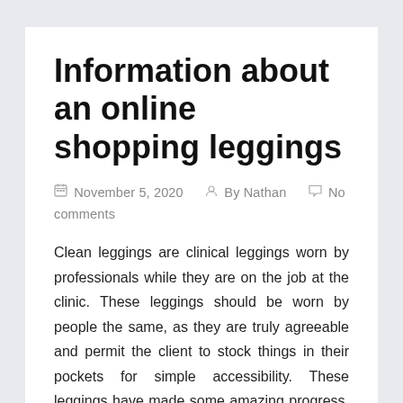Information about an online shopping leggings
📅 November 5, 2020   ✍ By Nathan   💬 No comments
Clean leggings are clinical leggings worn by professionals while they are on the job at the clinic. These leggings should be worn by people the same, as they are truly agreeable and permit the client to stock things in their pockets for simple accessibility. These leggings have made some amazing progress, and today are accessible in the